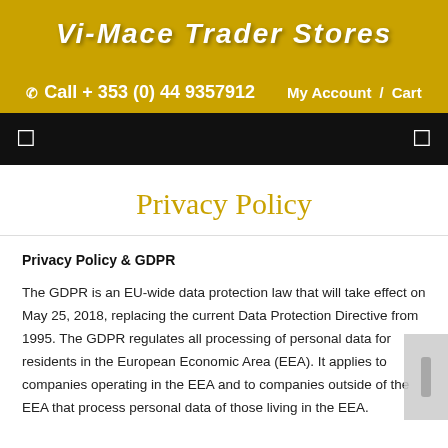Vi-Mace Trader Stores — Call + 353 (0) 44 9357912  My Account / Cart
Privacy Policy
Privacy Policy & GDPR
The GDPR is an EU-wide data protection law that will take effect on May 25, 2018, replacing the current Data Protection Directive from 1995. The GDPR regulates all processing of personal data for residents in the European Economic Area (EEA). It applies to companies operating in the EEA and to companies outside of the EEA that process personal data of those living in the EEA.